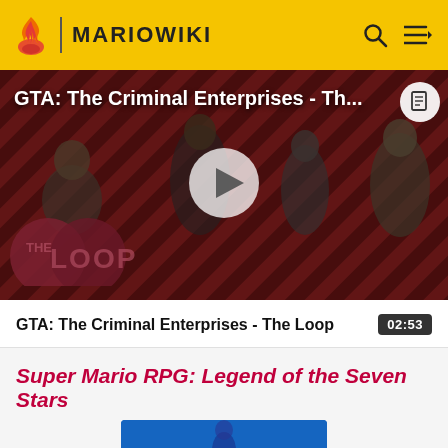MARIOWIKI
[Figure (screenshot): GTA: The Criminal Enterprises - The Loop video thumbnail with play button, red diagonal striped background, characters, and THE LOOP logo overlay]
GTA: The Criminal Enterprises - The Loop   02:53
Super Mario RPG: Legend of the Seven Stars
[Figure (screenshot): Partial thumbnail image for Super Mario RPG: Legend of the Seven Stars on blue background]